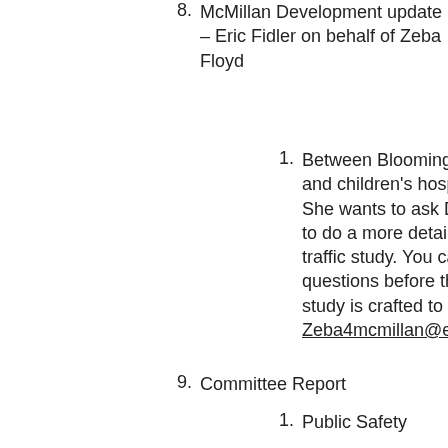8. McMillan Development update – Eric Fidler on behalf of Zeba Floyd
1. Between Bloomingdale and children's hospital. She wants to ask DDOT to do a more detailed traffic study. You can ask questions before the study is crafted to Zeba: Zeba4mcmillan@earthlink.net
9. Committee Report
1. Public Safety